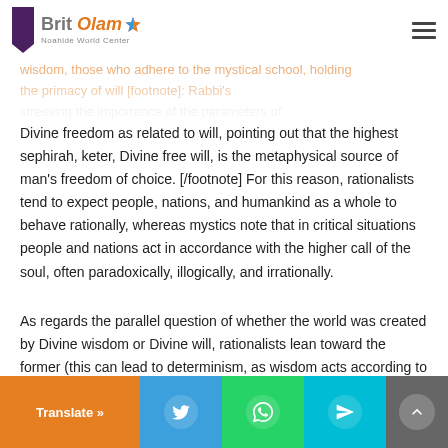Brit Olam Noahide World Center
wisdom, those who adhere to the mystical school, holding the primacy of will [footnote]: Rabbi's stressing the importance of the parameters of Divine freedom as related to will, pointing out that the highest sephirah, keter, Divine free will, is the metaphysical source of man's freedom of choice. [/footnote] For this reason, rationalists tend to expect people, nations, and humankind as a whole to behave rationally, whereas mystics note that in critical situations people and nations act in accordance with the higher call of the soul, often paradoxically, illogically, and irrationally.
As regards the parallel question of whether the world was created by Divine wisdom or Divine will, rationalists lean toward the former (this can lead to determinism, as wisdom acts according to truth, which is absolute); mystics emphasize
Translate » | Twitter | WhatsApp | Share | Back to top